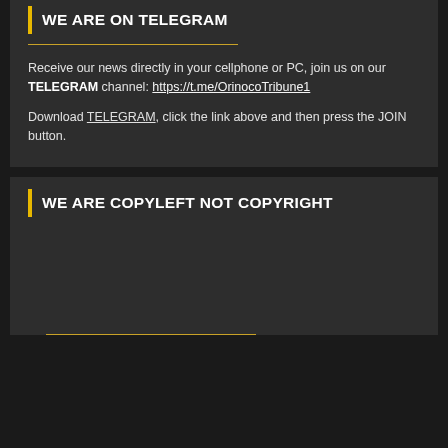WE ARE ON TELEGRAM
Receive our news directly in your cellphone or PC, join us on our TELEGRAM channel: https://t.me/OrinocoTribune1
Download TELEGRAM, click the link above and then press the JOIN button.
WE ARE COPYLEFT NOT COPYRIGHT